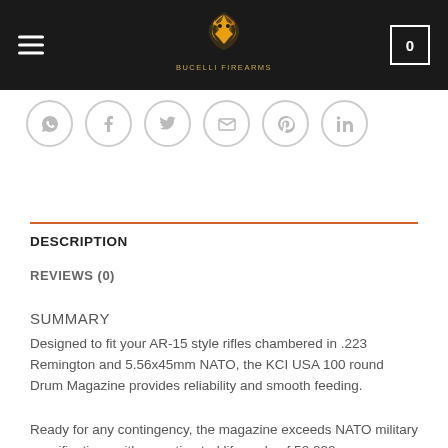Bucelli Firearms — Navigation header with logo and cart
[Figure (logo): Bucelli Firearms logo: gold dragon figure on black background with store name text]
[Figure (infographic): Social share icons: WhatsApp, Facebook, Twitter, Email, Pinterest, LinkedIn — circular grey outlined icons]
DESCRIPTION
REVIEWS (0)
SUMMARY
Designed to fit your AR-15 style rifles chambered in .223 Remington and 5.56x45mm NATO, the KCI USA 100 round Drum Magazine provides reliability and smooth feeding.
Ready for any contingency, the magazine exceeds NATO military specifications with an estimated life cycle of 50,000